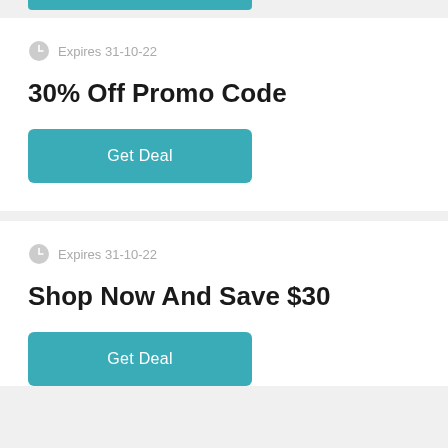Expires 31-10-22
30% Off Promo Code
Get Deal
Expires 31-10-22
Shop Now And Save $30
Get Deal